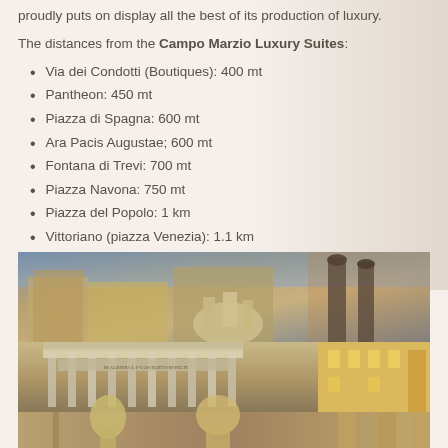proudly puts on display all the best of its production of luxury.
The distances from the Campo Marzio Luxury Suites:
Via dei Condotti (Boutiques): 400 mt
Pantheon: 450 mt
Piazza di Spagna: 600 mt
Ara Pacis Augustae; 600 mt
Fontana di Trevi: 700 mt
Piazza Navona: 750 mt
Piazza del Popolo: 1 km
Vittoriano (piazza Venezia): 1.1 km
Colosseo: 2.1 km
San Pietro (Musei Vaticani): 2.1 km
[Figure (photo): Collage of Rome landmarks: Trevi Fountain, Pantheon, statues, and Roman monuments]